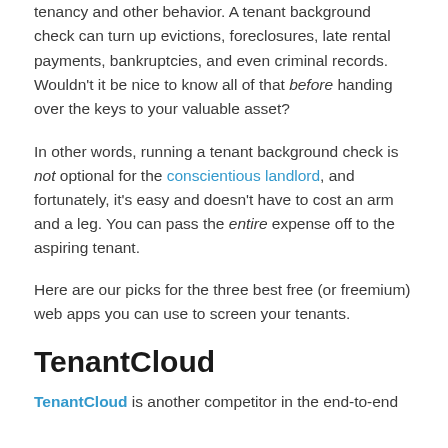tenancy and other behavior. A tenant background check can turn up evictions, foreclosures, late rental payments, bankruptcies, and even criminal records. Wouldn't it be nice to know all of that before handing over the keys to your valuable asset?
In other words, running a tenant background check is not optional for the conscientious landlord, and fortunately, it's easy and doesn't have to cost an arm and a leg. You can pass the entire expense off to the aspiring tenant.
Here are our picks for the three best free (or freemium) web apps you can use to screen your tenants.
TenantCloud
TenantCloud is another competitor in the end-to-end